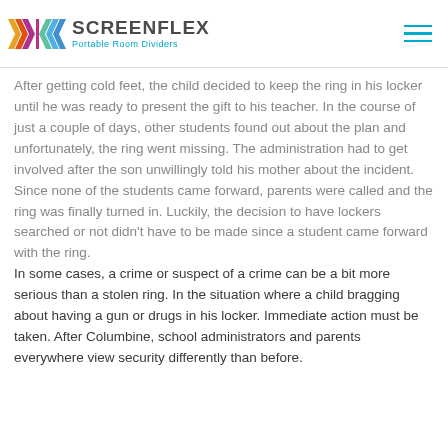SCREENFLEX Portable Room Dividers
After getting cold feet, the child decided to keep the ring in his locker until he was ready to present the gift to his teacher. In the course of just a couple of days, other students found out about the plan and unfortunately, the ring went missing. The administration had to get involved after the son unwillingly told his mother about the incident. Since none of the students came forward, parents were called and the ring was finally turned in. Luckily, the decision to have lockers searched or not didn't have to be made since a student came forward with the ring.
In some cases, a crime or suspect of a crime can be a bit more serious than a stolen ring. In the situation where a child bragging about having a gun or drugs in his locker. Immediate action must be taken. After Columbine, school administrators and parents everywhere view security differently than before.